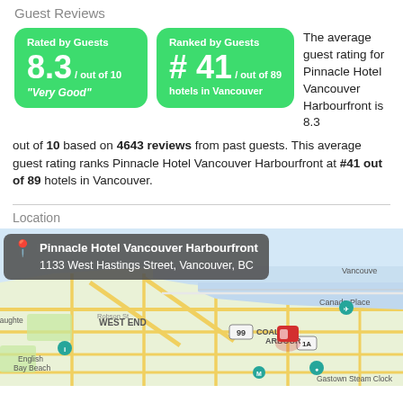Guest Reviews
[Figure (infographic): Two green rounded boxes showing guest ratings. Left box: Rated by Guests 8.3 / out of 10 'Very Good'. Right box: Ranked by Guests # 41 / out of 89 hotels in Vancouver.]
The average guest rating for Pinnacle Hotel Vancouver Harbourfront is 8.3 out of 10 based on 4643 reviews from past guests. This average guest rating ranks Pinnacle Hotel Vancouver Harbourfront at #41 out of 89 hotels in Vancouver.
Location
[Figure (map): Google Maps screenshot showing Vancouver area. A tooltip overlay reads: Pinnacle Hotel Vancouver Harbourfront, 1133 West Hastings Street, Vancouver, BC. The map shows West End, Coal Harbour, Canada Place, English Bay Beach, Gastown Steam Clock areas with a red map pin marker on the hotel location.]